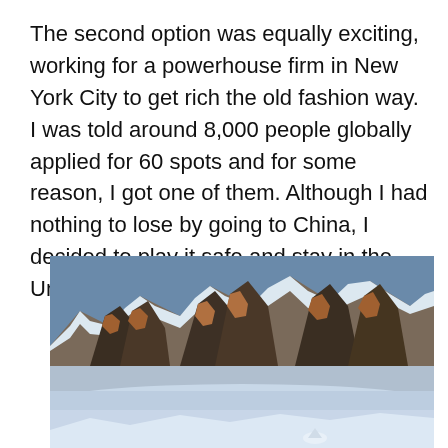The second option was equally exciting, working for a powerhouse firm in New York City to get rich the old fashion way. I was told around 8,000 people globally applied for 60 spots and for some reason, I got one of them. Although I had nothing to lose by going to China, I decided to play it safe and stay in the United States.
[Figure (photo): Photograph of snow-capped rocky mountain peaks with dramatic lighting, brown-red rock faces illuminated against a blue-tinted snowy foreground and sky.]
[Figure (photo): Partial photograph of a snowy mountain scene, cropped at the bottom of the page.]